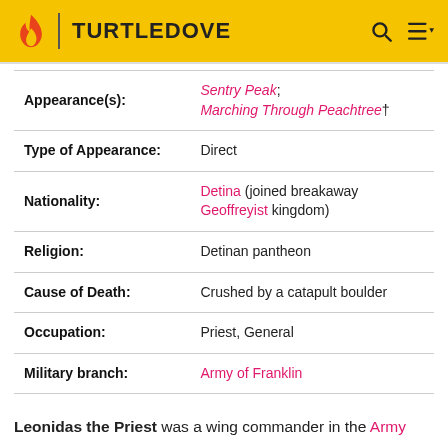TURTLEDOVE
| Field | Value |
| --- | --- |
| Appearance(s): | Sentry Peak; Marching Through Peachtree† |
| Type of Appearance: | Direct |
| Nationality: | Detina (joined breakaway Geoffreyist kingdom) |
| Religion: | Detinan pantheon |
| Cause of Death: | Crushed by a catapult boulder |
| Occupation: | Priest, General |
| Military branch: | Army of Franklin |
Leonidas the Priest was a wing commander in the Army